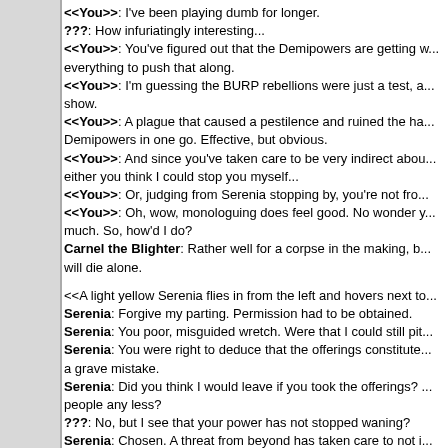<<You>>: I've been playing dumb for longer. ???: How infuriatingly interesting... <<You>>: You've figured out that the Demipowers are getting w... everything to push that along. <<You>>: I'm guessing the BURP rebellions were just a test, a... show. <<You>>: A plague that caused a pestilence and ruined the ha... Demipowers in one go. Effective, but obvious. <<You>>: And since you've taken care to be very indirect abou... either you think I could stop you myself... <<You>>: Or, judging from Serenia stopping by, you're not fro... <<You>>: Oh, wow, monologuing does feel good. No wonder y... much. So, how'd I do? Carnel the Blighter: Rather well for a corpse in the making, b... will die alone.
<<A light yellow Serenia flies in from the left and hovers next to... Serenia: Forgive my parting. Permission had to be obtained. Serenia: You poor, misguided wretch. Were that I could still pit... Serenia: You were right to deduce that the offerings constitute... a grave mistake. Serenia: Did you think I would leave if you took the offerings? ... people any less? ???: No, but I see that your power has not stopped waning? Serenia: Chosen. A threat from beyond has taken care to not i... acting indirectly. Serenia: And so I make my offer. Serenia: If you would freely accept me, I claim you as my avat... only.
Normal Battle! (Accept Serenia's Armor and Shield)
<<You>>: I would be honored.
Challenge Battle! (Battle with no aid)
<<You>>: I would be honored, Serenia, but these ene... of the gods of Lore.